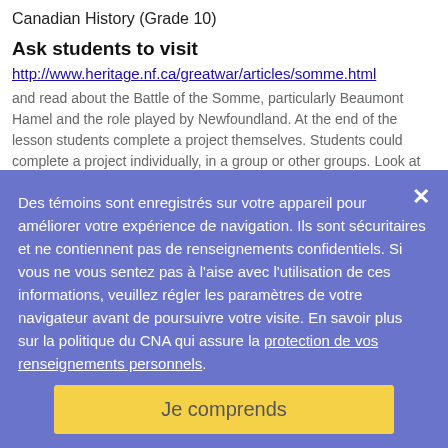Canadian History (Grade 10)
Ask students to visit
http://www.heritage.nf.ca/greatwar/articles/somme.html
and read about the Battle of the Somme, particularly Beaumont Hamel and the role played by Newfoundland. At the end of the lesson students complete a project themselves. Students could complete a project individually, in a group or other groups. Look at famous people and divisions involved. Ask them to build a paper with students' last poem, song, or video stories that portrays the experience of the day and the courage of the soldiers who marched into the line of fire; an analysis of the battle which addresses the strengths and weaknesses of the battle plan (keeping in mind that hindsight is always 20-20) and suggestions as to what might have been done differently.
Des témoins sont enregistrés sur votre appareil pour améliorer votre expérience de navigation. Ils sont sécuritaires et ne contiennent pas de renseignements confidentiels. Si vous ne vous sentez pas à l'aise avec l'utilisation de ces informations, veuillez régler les paramètres de votre navigateur avant de poursuivre votre visite. En savoir plus sur la politique du CNA qui assure la protection de vos renseignements personnels.
Je comprends